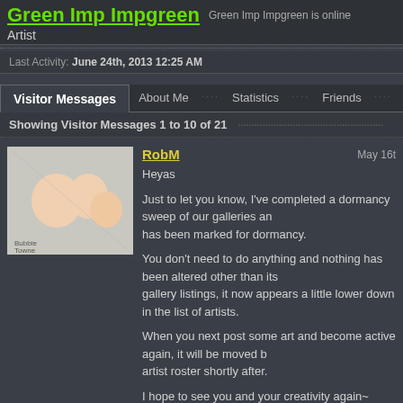Green Imp Impgreen
Green Imp Impgreen is online
Artist
Last Activity: June 24th, 2013 12:25 AM
Visitor Messages
About Me
Statistics
Friends
Showing Visitor Messages 1 to 10 of 21
RobM
May 16th
Heyas

Just to let you know, I've completed a dormancy sweep of our galleries an... has been marked for dormancy.

You don't need to do anything and nothing has been altered other than its gallery listings, it now appears a little lower down in the list of artists.

When you next post some art and become active again, it will be moved b... artist roster shortly after.

I hope to see you and your creativity again~

RobM
rumataestorian
May 31s
Okay! Cant wait to do it!